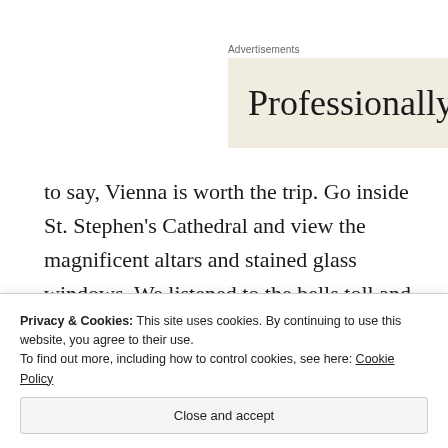Advertisements
[Figure (other): Advertisement banner showing the word 'Professionally' in large serif font on a beige/cream background]
to say, Vienna is worth the trip. Go inside St. Stephen's Cathedral and view the magnificent altars and stained glass windows. We listened to the bells toll and left behind prayers for loved ones.
Privacy & Cookies: This site uses cookies. By continuing to use this website, you agree to their use.
To find out more, including how to control cookies, see here: Cookie Policy
Close and accept